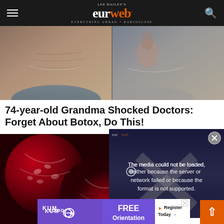LEE BAILEY'S eurweb EVERYTHING URBAN + RADIOSCOPE
[Figure (photo): Before-and-after style photo showing an older woman's neck area with visible wrinkles, split into two panels side by side]
74-year-old Grandma Shocked Doctors: Forget About Botox, Do This!
[Figure (photo): Close-up photo of red pomegranate fruit with seeds visible]
[Figure (screenshot): Video player overlay showing error message: 'The media could not be loaded, either because the server or network failed or because the format is not supported.' with a close (X) button and silhouette of a person in background]
[Figure (other): Kumon advertisement banner showing 'FREE Orientation' with 'Register Today' call-to-action]